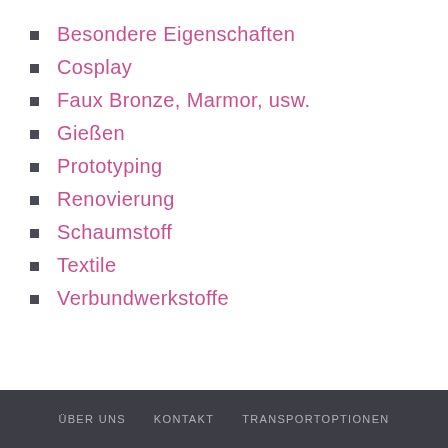Besondere Eigenschaften
Cosplay
Faux Bronze, Marmor, usw.
Gießen
Prototyping
Renovierung
Schaumstoff
Textile
Verbundwerkstoffe
ÜBER UNS   KONTAKT   TRANSPORTOPTIONEN